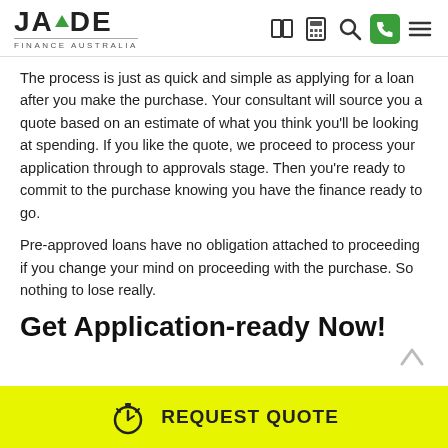JADE FINANCE AUSTRALIA
The process is just as quick and simple as applying for a loan after you make the purchase. Your consultant will source you a quote based on an estimate of what you think you'll be looking at spending. If you like the quote, we proceed to process your application through to approvals stage. Then you're ready to commit to the purchase knowing you have the finance ready to go.
Pre-approved loans have no obligation attached to proceeding if you change your mind on proceeding with the purchase. So nothing to lose really.
Get Application-ready Now!
[Figure (other): Yellow CTA banner with stopwatch icon and REQUEST QUOTE text]